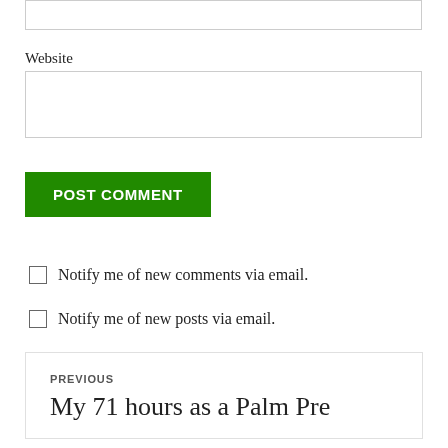Website
POST COMMENT
Notify me of new comments via email.
Notify me of new posts via email.
PREVIOUS
My 71 hours as a Palm Pre owner